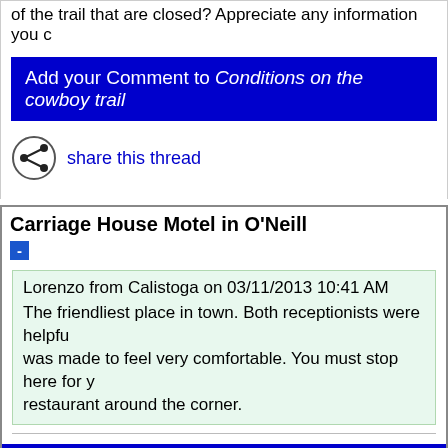of the trail that are closed? Appreciate any information you c
Add your Comment to Conditions on the cowboy trail
share this thread
Carriage House Motel in O'Neill
Lorenzo from Calistoga on 03/11/2013 10:41 AM
The friendliest place in town. Both receptionists were helpfu... was made to feel very comfortable. You must stop here for y... restaurant around the corner.
Add your Comment to Carriage House Motel in O'Neil